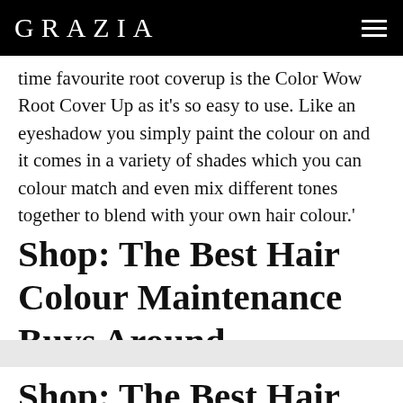GRAZIA
time favourite root coverup is the Color Wow Root Cover Up as it's so easy to use. Like an eyeshadow you simply paint the colour on and it comes in a variety of shades which you can colour match and even mix different tones together to blend with your own hair colour.'
Shop: The Best Hair Colour Maintenance Buys Around
Shop: The Best Hair Colour